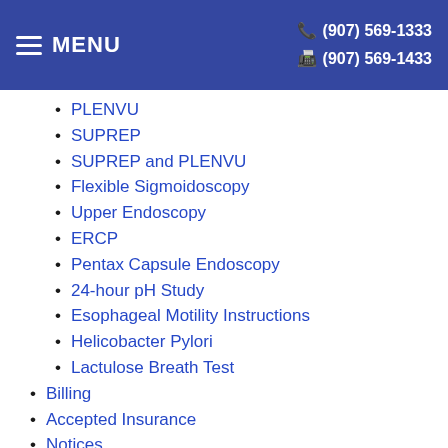MENU | ☎ (907) 569-1333 | 📠 (907) 569-1433
PLENVU
SUPREP
SUPREP and PLENVU
Flexible Sigmoidoscopy
Upper Endoscopy
ERCP
Pentax Capsule Endoscopy
24-hour pH Study
Esophageal Motility Instructions
Helicobacter Pylori
Lactulose Breath Test
Billing
Accepted Insurance
Notices
Notice of Privacy Practices
Interpreters Available
Notice of Non-Discrimination
Good Faith Estimates
Surprise Billing
Patient Education
Images